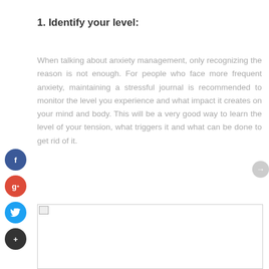1. Identify your level:
When talking about anxiety management, only recognizing the reason is not enough. For people who face more frequent anxiety, maintaining a stressful journal is recommended to monitor the level you experience and what impact it creates on your mind and body. This will be a very good way to learn the level of your tension, what triggers it and what can be done to get rid of it.
[Figure (other): Empty white box with a small image placeholder icon in the top-left corner]